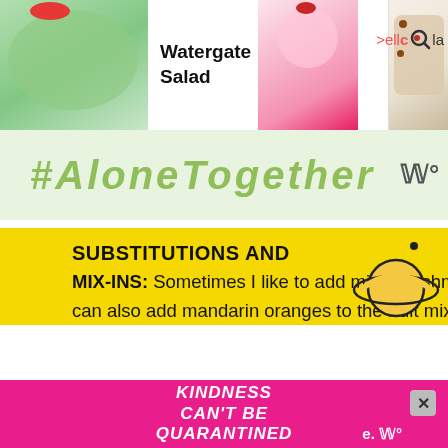Watergate Salad | Pistachio and Cranberry Fudge
[Figure (screenshot): Website navigation bar with food images: green Watergate Salad on left, Pistachio and Cranberry Fudge in center, pink dessert on right, with search and navigation icons]
[Figure (screenshot): Banner graphic with green text reading #AloneTogether and logo]
[Figure (illustration): Planet/Saturn icon in outline style]
SUBSTITUTIONS AND ADDITIONS
MIX-INS: Sometimes I like to add mini marshmallows into my pistachio pudding sala as well. You can also add mandarin oranges to the fruit mix.
NUTS: If your family doesn't like the pistachio nuts, they can be left off. You could also replace them with walnuts, slivered almonds or
[Figure (screenshot): Pink advertisement banner with text 'KINDNESS CAN'T BE QUARANTINED' and close button]
351 | share button | heart button | search button